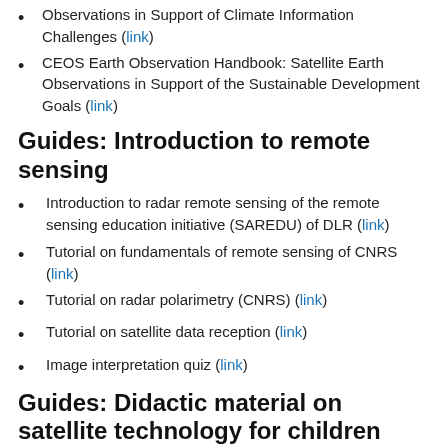Observations in Support of Climate Information Challenges (link)
CEOS Earth Observation Handbook: Satellite Earth Observations in Support of the Sustainable Development Goals (link)
Guides: Introduction to remote sensing
Introduction to radar remote sensing of the remote sensing education initiative (SAREDU) of DLR (link)
Tutorial on fundamentals of remote sensing of CNRS (link)
Tutorial on radar polarimetry (CNRS) (link)
Tutorial on satellite data reception (link)
Image interpretation quiz (link)
Guides: Didactic material on satellite technology for children and schools
EDUSPACE of ESA aims to provide secondary school students and teachers with a learning and teaching tool. It is meant to be an entry point for space image data, and, in particular, to a widespread visibility of Earth observation applications for education and training. (link)